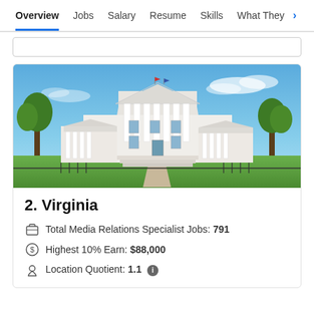Overview  Jobs  Salary  Resume  Skills  What They >
[Figure (photo): Photograph of the Virginia State Capitol building, a white neoclassical building with columns and a triangular pediment, surrounded by green lawn and trees under a blue sky.]
2. Virginia
Total Media Relations Specialist Jobs: 791
Highest 10% Earn: $88,000
Location Quotient: 1.1